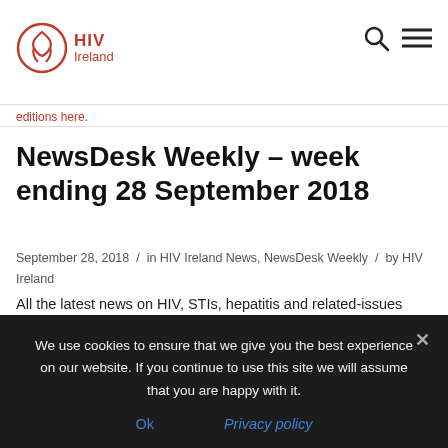HIV Ireland — logo and navigation header
editions here.
NewsDesk Weekly – week ending 28 September 2018
September 28, 2018 / in HIV Ireland News, NewsDesk Weekly / by HIV Ireland
All the latest news on HIV, STIs, hepatitis and related-issues
We use cookies to ensure that we give you the best experience on our website. If you continue to use this site we will assume that you are happy with it.
Ok   Privacy policy